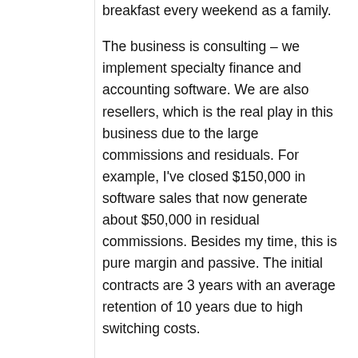breakfast every weekend as a family.
The business is consulting – we implement specialty finance and accounting software. We are also resellers, which is the real play in this business due to the large commissions and residuals. For example, I've closed $150,000 in software sales that now generate about $50,000 in residual commissions. Besides my time, this is pure margin and passive. The initial contracts are 3 years with an average retention of 10 years due to high switching costs.